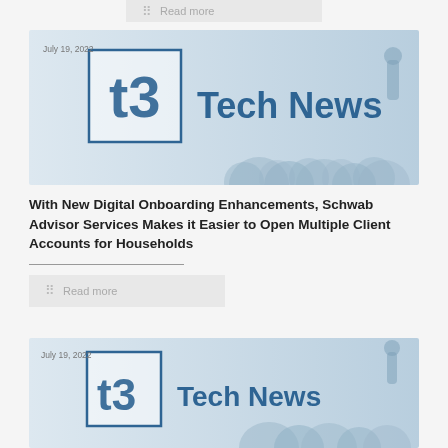Read more
[Figure (screenshot): t3 Tech News banner with logo and audience background, dated July 19, 2022]
With New Digital Onboarding Enhancements, Schwab Advisor Services Makes it Easier to Open Multiple Client Accounts for Households
Read more
[Figure (screenshot): t3 Tech News banner with logo and audience background, dated July 19, 2022]